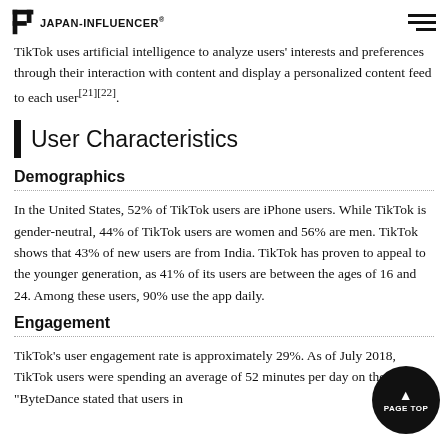JAPAN-INFLUENCER
TikTok uses artificial intelligence to analyze users' interests and preferences through their interaction with content and display a personalized content feed to each user[21][22].
User Characteristics
Demographics
In the United States, 52% of TikTok users are iPhone users. While TikTok is gender-neutral, 44% of TikTok users are women and 56% are men. TikTok shows that 43% of new users are from India. TikTok has proven to appeal to the younger generation, as 41% of its users are between the ages of 16 and 24. Among these users, 90% use the app daily.
Engagement
TikTok's user engagement rate is approximately 29%. As of July 2018, TikTok users were spending an average of 52 minutes per day on the app. "ByteDance stated that users in